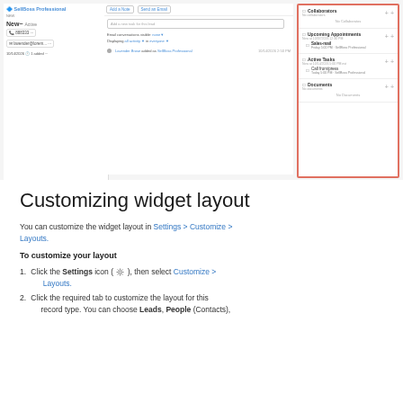[Figure (screenshot): Screenshot of a CRM interface showing left contact panel, center activity feed, and right widget panel highlighted with red/orange border showing Collaborators, Upcoming Appointments, Sales-mail, Active Tasks, Call from/press, and Documents widgets.]
Customizing widget layout
You can customize the widget layout in Settings > Customize > Layouts.
To customize your layout
Click the Settings icon (⚙), then select Customize > Layouts.
Click the required tab to customize the layout for this record type. You can choose Leads, People (Contacts),